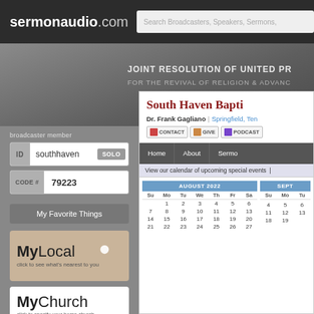[Figure (screenshot): SermonAudio.com website header with logo and search bar]
JOINT RESOLUTION OF UNITED PR FOR THE REVIVAL OF RELIGION & ADVANC
broadcaster member
ID  southhaven  SOLO
CODE #  79223
My Favorite Things
[Figure (logo): MyLocal - click to see what's nearest to you]
[Figure (logo): MyChurch - click to specify your home church]
South Haven Bapti
Dr. Frank Gagliano | Springfield, Ten
CONTACT  GIVE  PODCAST
Home  About  Sermo
View our calendar of upcoming special events |
| Su | Mo | Tu | We | Th | Fr | Sa |
| --- | --- | --- | --- | --- | --- | --- |
|  | 1 | 2 | 3 | 4 | 5 | 6 |
| 7 | 8 | 9 | 10 | 11 | 12 | 13 |
| 14 | 15 | 16 | 17 | 18 | 19 | 20 |
| 21 | 22 | 23 | 24 | 25 | 26 | 27 |
AUGUST 2022
SEPT